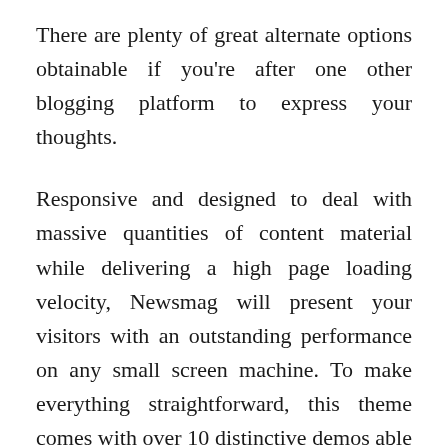There are plenty of great alternate options obtainable if you're after one other blogging platform to express your thoughts.
Responsive and designed to deal with massive quantities of content material while delivering a high page loading velocity, Newsmag will present your visitors with an outstanding performance on any small screen machine. To make everything straightforward, this theme comes with over 10 distinctive demos able to be imported in your web site. Built with prime quality code and the most effective web optimization practices, Newsmag Theme has an intelligent advert system designed to make your web site AdSense prepared in a few seconds. Compatible with WooCommerce, this